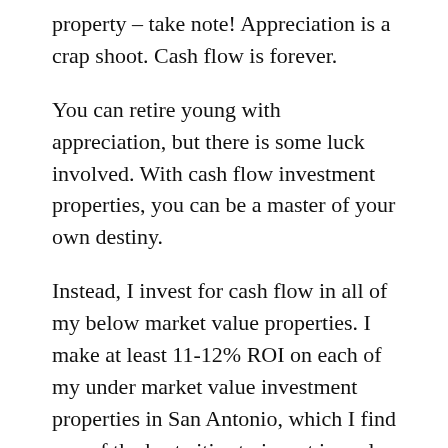property – take note! Appreciation is a crap shoot. Cash flow is forever.
You can retire young with appreciation, but there is some luck involved. With cash flow investment properties, you can be a master of your own destiny.
Instead, I invest for cash flow in all of my below market value properties. I make at least 11-12% ROI on each of my under market value investment properties in San Antonio, which I find one of the best cities to invest in real estate. Here's exactly how I do it:
I find an under market value property.
I buy it cash for at least 20% under market value (or I move on)
I do $25,000 or so in rehab.
I sell it with owner financing at 10% interest, $5000